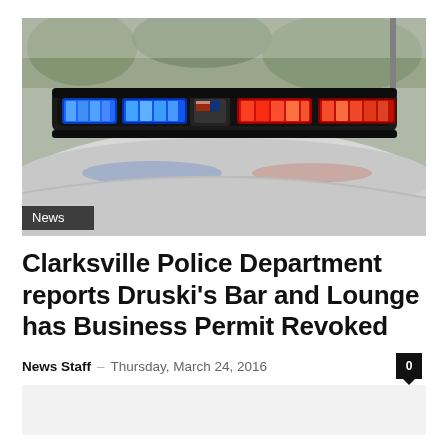[Figure (photo): Close-up photograph of police car roof with flashing blue and red emergency lights (light bar) against a blurred outdoor background. A 'News' badge label overlays the bottom-left corner of the image.]
Clarksville Police Department reports Druski's Bar and Lounge has Business Permit Revoked
News Staff – Thursday, March 24, 2016